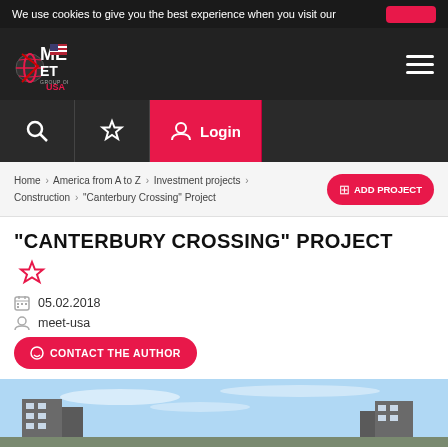We use cookies to give you the best experience when you visit our
[Figure (screenshot): MEET Group of Companies USA logo with globe icon and US flag]
Home > America from A to Z > Investment projects > Construction > "Canterbury Crossing" Project
ADD PROJECT
"CANTERBURY CROSSING" PROJECT
05.02.2018
meet-usa
CONTACT THE AUTHOR
[Figure (photo): Exterior photo of Canterbury Crossing residential construction project buildings against blue sky]